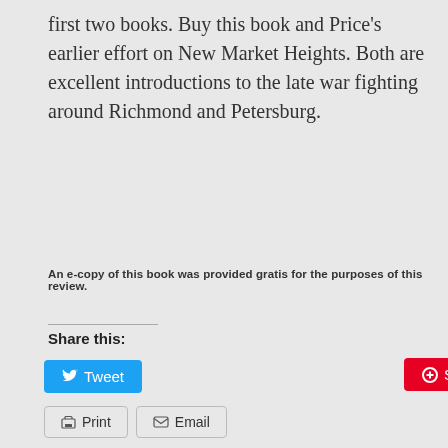first two books. Buy this book and Price's earlier effort on New Market Heights. Both are excellent introductions to the late war fighting around Richmond and Petersburg.
An e-copy of this book was provided gratis for the purposes of this review.
Share this:
Tweet  Save  Post
Print  Email
Related
[Figure (photo): Historical illustration of a Civil War battle scene with trees and soldiers]
[Figure (map): Road map with cyan and red lines showing transportation routes]